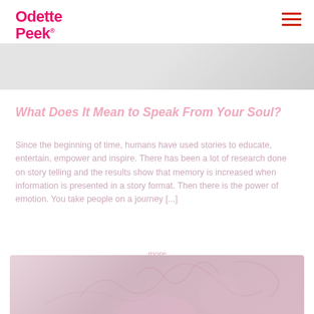Odette Peek
[Figure (photo): Hero banner image — light gray gradient background strip]
What Does It Mean to Speak From Your Soul?
Since the beginning of time, humans have used stories to educate, entertain, empower and inspire. There has been a lot of research done on story telling and the results show that memory is increased when information is presented in a story format. Then there is the power of emotion. You take people on a journey [...]
more
[Figure (photo): Bottom image showing faded decorative illustration with human figures or calligraphic design on a pink/rose background]